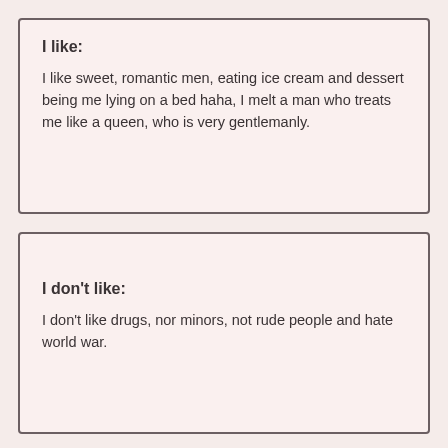I like:
I like sweet, romantic men, eating ice cream and dessert being me lying on a bed haha, I melt a man who treats me like a queen, who is very gentlemanly.
I don't like:
I don't like drugs, nor minors, not rude people and hate world war.